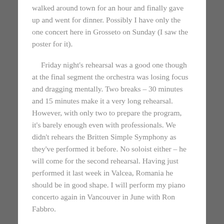walked around town for an hour and finally gave up and went for dinner. Possibly I have only the one concert here in Grosseto on Sunday (I saw the poster for it).
Friday night's rehearsal was a good one though at the final segment the orchestra was losing focus and dragging mentally. Two breaks – 30 minutes and 15 minutes make it a very long rehearsal. However, with only two to prepare the program, it's barely enough even with professionals. We didn't rehears the Britten Simple Symphony as they've performed it before. No soloist either – he will come for the second rehearsal. Having just performed it last week in Valcea, Romania he should be in good shape. I will perform my piano concerto again in Vancouver in June with Ron Fabbro.
Saturday night's rehearsal was quite productive. I discovered an interesting spot in the first movement that had been puzzling me – on the recording we made in Alessandro at the